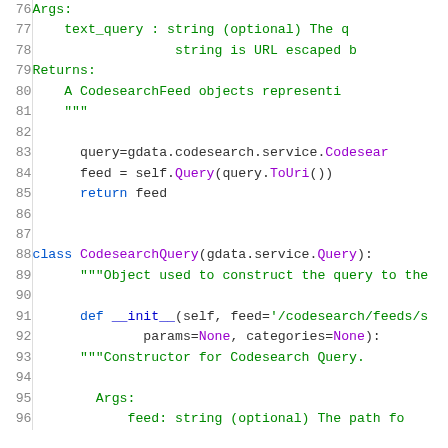Code listing lines 76-96: Python source code for CodesearchQuery class
76    Args:
77        text_query : string (optional) The q
78                    string is URL escaped b
79    Returns:
80        A CodesearchFeed objects representi
81    """
82
83        query=gdata.codesearch.service.Codesear
84        feed = self.Query(query.ToUri())
85        return feed
86
87
88  class CodesearchQuery(gdata.service.Query):
89      """Object used to construct the query to the
90
91      def __init__(self, feed='/codesearch/feeds/s
92              params=None, categories=None):
93      """Constructor for Codesearch Query.
94
95      Args:
96          feed: string (optional) The path fo